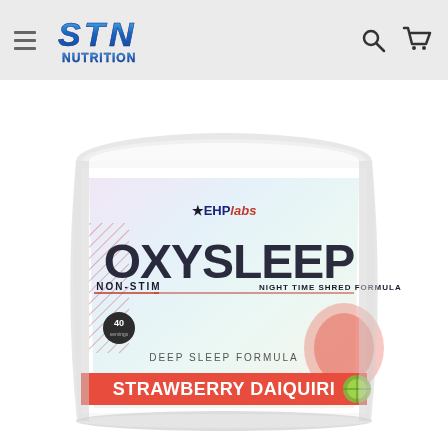STN Nutrition website header with hamburger menu, STN NUTRITION logo, search icon, and cart icon
[Figure (photo): EHP Labs OxySleep Non-Stim Night Time Shred Formula supplement tub in Strawberry Daiquiri flavor. White cylindrical container with the OxySleep branding in large dark letters, EHPlabs star logo, '40 servings', 'DEEP SLEEP FORMULA' text, and a pink/red banner at the bottom reading 'STRAWBERRY DAIQUIRI'. Text at bottom reads 'Dietary Supplement | Net Wt. 6.6oz (194g)'.]